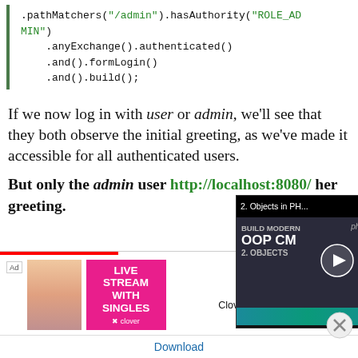[Figure (screenshot): Code block showing Spring Security configuration: .pathMatchers('/admin').hasAuthority('ROLE_ADMIN') .anyExchange().authenticated() .and().formLogin() .and().build();]
If we now log in with user or admin, we'll see that they both observe the initial greeting, as we've made it accessible for all authenticated users.
But only the admin user http://localhost:8080/... her greeting.
[Figure (screenshot): Video overlay showing '2. Objects in PH...' BUILD MODERN OOP CM 2. OBJECTS with play button and php badge]
[Figure (screenshot): Advertisement for Clover-Live Stream Dating with LIVE STREAM WITH SINGLES text and Download button]